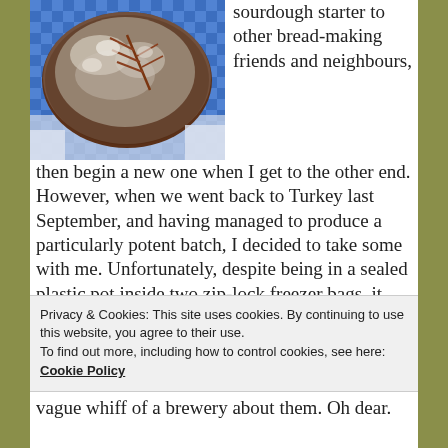[Figure (photo): A round sourdough bread loaf dusted with flour, with a decorative leaf pattern scored on top, resting on a blue and white checked cloth/towel.]
sourdough starter to other bread-making friends and neighbours, then begin a new one when I get to the other end. However, when we went back to Turkey last September, and having managed to produce a particularly potent batch, I decided to take some with me. Unfortunately, despite being in a sealed plastic pot inside two zip-lock freezer bags, it sort of exploded while in the hold of the plane, and then got out into my suitcase. Ooops. This was not ideal, as we
Privacy & Cookies: This site uses cookies. By continuing to use this website, you agree to their use.
To find out more, including how to control cookies, see here: Cookie Policy
Close and accept
vague whiff of a brewery about them. Oh dear.